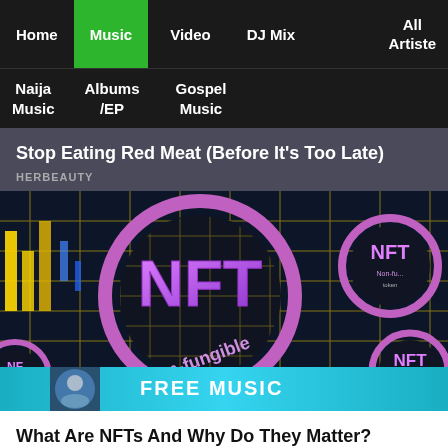Home  Music  Video  DJ Mix  All Artiste
Naija Music  Albums /EP  Gospel Music
Stop Eating Red Meat (Before It's Too Late)
HERBEAUTY
[Figure (photo): NFT (non-fungible) token concept image with glowing circuit board and purple/pink NFT coins]
What Are NFTs And Why Do They Matter?
BRAINBERRIES